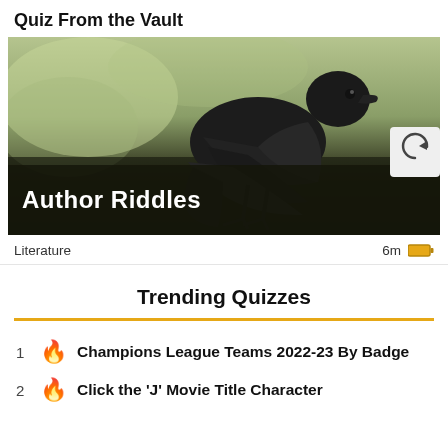Quiz From the Vault
[Figure (photo): A black crow bird perched, photographed close-up against a blurred green and dark background. Text overlay at bottom says 'Author Riddles' in white bold font on dark semi-transparent background. A refresh/reload button icon appears at the right side.]
Literature    6m
Trending Quizzes
1 🔥 Champions League Teams 2022-23 By Badge
2 🔥 Click the 'J' Movie Title Character